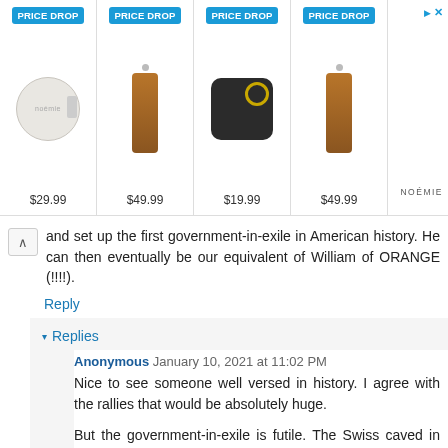[Figure (screenshot): Advertisement banner with four products all showing 'PRICE DROP' badges. Products: 1) Round white leather pouch $29.99, 2) Brown leather strap/crossbody $49.99, 3) Black AirPods case with gold ring $19.99, 4) Brown leather strap $49.99. Brand: NOEMIE.]
and set up the first government-in-exile in American history. He can then eventually be our equivalent of William of ORANGE (!!!!)
Reply
▾ Replies
Anonymous January 10, 2021 at 11:02 PM
Nice to see someone well versed in history. I agree with the rallies that would be absolutely huge.
But the government-in-exile is futile. The Swiss caved in long ago to our bankster class when they denied privacy rights over bank accounts.
All they had to say was accuse them of harboring